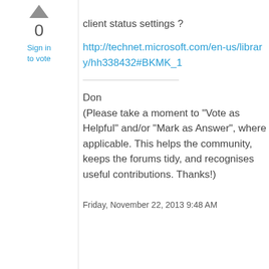[Figure (other): Upward pointing arrow icon for voting]
0
Sign in
to vote
client status settings ?
http://technet.microsoft.com/en-us/library/hh338432#BKMK_1
Don
(Please take a moment to "Vote as Helpful" and/or "Mark as Answer", where applicable. This helps the community, keeps the forums tidy, and recognises useful contributions. Thanks!)
Friday, November 22, 2013 9:48 AM